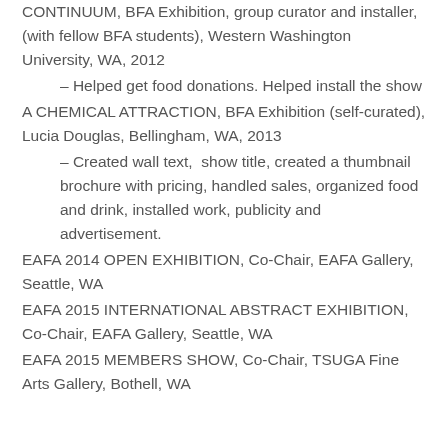CONTINUUM, BFA Exhibition, group curator and installer, (with fellow BFA students), Western Washington University, WA, 2012
– Helped get food donations. Helped install the show
A CHEMICAL ATTRACTION, BFA Exhibition (self-curated), Lucia Douglas, Bellingham, WA, 2013
– Created wall text,  show title, created a thumbnail brochure with pricing, handled sales, organized food and drink, installed work, publicity and advertisement.
EAFA 2014 OPEN EXHIBITION, Co-Chair, EAFA Gallery, Seattle, WA
EAFA 2015 INTERNATIONAL ABSTRACT EXHIBITION, Co-Chair, EAFA Gallery, Seattle, WA
EAFA 2015 MEMBERS SHOW, Co-Chair, TSUGA Fine Arts Gallery, Bothell, WA